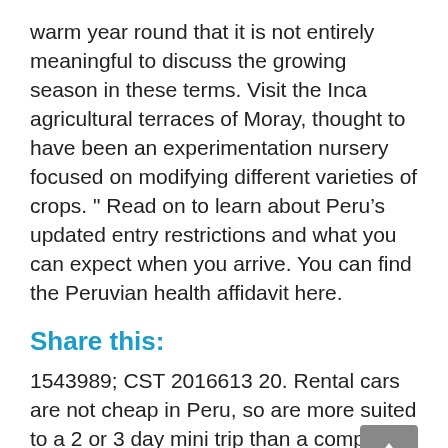warm year round that it is not entirely meaningful to discuss the growing season in these terms. Visit the Inca agricultural terraces of Moray, thought to have been an experimentation nursery focused on modifying different varieties of crops. " Read on to learn about Peru’s updated entry restrictions and what you can expect when you arrive. You can find the Peruvian health affidavit here.
Share this:
1543989; CST 2016613 20. Rental cars are not cheap in Peru, so are more suited to a 2 or 3 day mini trip than a complete tour of the country. To give you an idea, here are our figures by expenditure item. All travelers are now permitted to fly into Lima, Peru. Lima is rightly hailed as the gastronomic capital of Latin America because of the culinary genius of its incredible gourmet